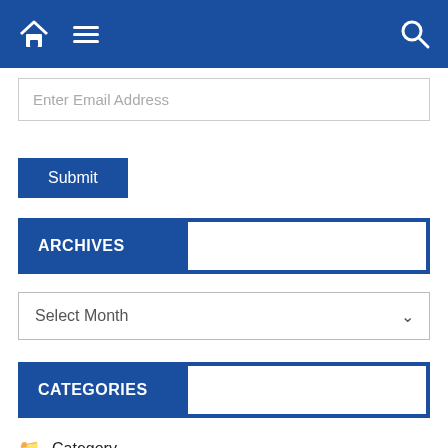[Figure (screenshot): Blue navigation bar with home icon, hamburger menu icon on left and search icon on right]
Enter Email Address
Submit
ARCHIVES
Select Month
CATEGORIES
Category
Daily Current Affairs
Daily Free Quiz